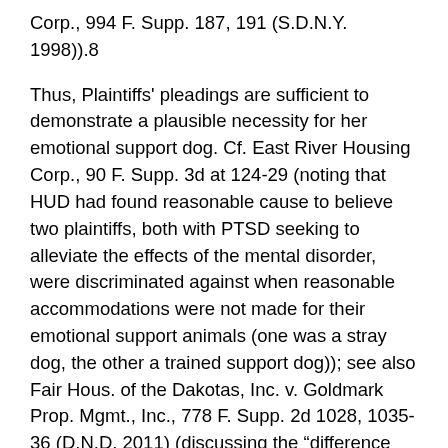Corp., 994 F. Supp. 187, 191 (S.D.N.Y. 1998)).8
Thus, Plaintiffs' pleadings are sufficient to demonstrate a plausible necessity for her emotional support dog. Cf. East River Housing Corp., 90 F. Supp. 3d at 124-29 (noting that HUD had found reasonable cause to believe two plaintiffs, both with PTSD seeking to alleviate the effects of the mental disorder, were discriminated against when reasonable accommodations were not made for their emotional support animals (one was a stray dog, the other a trained support dog)); see also Fair Hous. of the Dakotas, Inc. v. Goldmark Prop. Mgmt., Inc., 778 F. Supp. 2d 1028, 1035-36 (D.N.D. 2011) (discussing the “difference between not requiring the owner of a movie theater to allow a customer to bring her emotional support dog, which is not a service animal, into the theater to watch a two-hour movie, an ADA-type issue,” and “permitting the provider of housing to refuse to allow a renter to keep such an animal in her apartment in order to provide emotional support to her and to assist her to cope